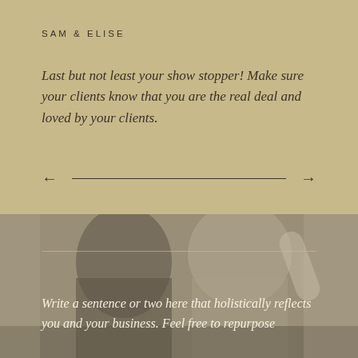SAM & ELISE
Last but not least your show stopper! Make sure your clients know that you are the real deal and loved by your clients.
[Figure (other): Navigation arrows with horizontal line — left arrow, horizontal rule, right arrow]
[Figure (photo): Black and white photo of a couple at a dining table, woman in white dress raising arm, man in dark jacket]
Write a sentence or two here that holistically reflects you and your business. Feel free to repurpose